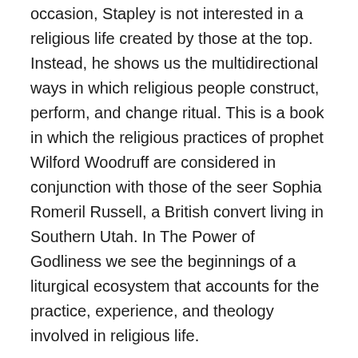occasion, Stapley is not interested in a religious life created by those at the top. Instead, he shows us the multidirectional ways in which religious people construct, perform, and change ritual. This is a book in which the religious practices of prophet Wilford Woodruff are considered in conjunction with those of the seer Sophia Romeril Russell, a British convert living in Southern Utah. In The Power of Godliness we see the beginnings of a liturgical ecosystem that accounts for the practice, experience, and theology involved in religious life.
Stapley's book is short. While the conciseness of the book makes it more accessible (and therefore easy to assign in undergraduate courses), it is also frustrating for those craving more explanations, context, and examples. I wish we could have this book in both its current 128-page condensed form but also as a more robust 256-page book